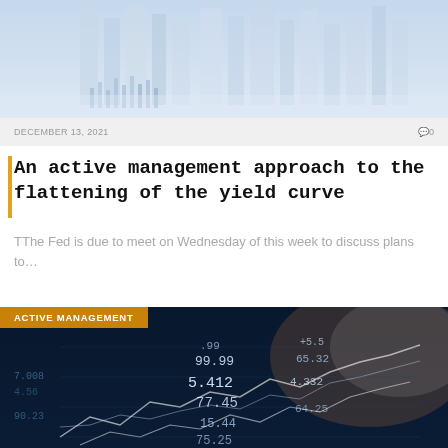[Figure (photo): Financial data display with blue tinted office/building background and digital chart overlays]
DECEMBER 13, 2021
0
An active management approach to the flattening of the yield curve
TThe Fed is due to meet on Wednesday of this week to discuss plans to…
[Figure (photo): Financial trading data screen with blue digital numbers and charts overlay, Active Management badge]